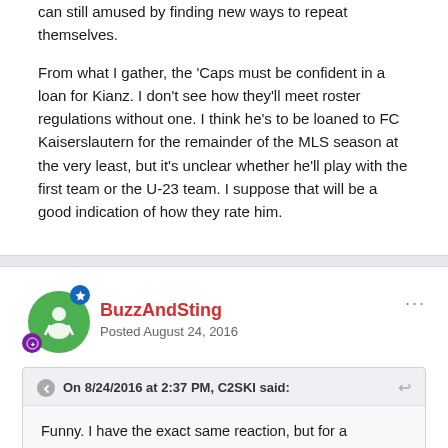can still amused by finding new ways to repeat themselves.
From what I gather, the 'Caps must be confident in a loan for Kianz. I don't see how they'll meet roster regulations without one. I think he's to be loaned to FC Kaiserslautern for the remainder of the MLS season at the very least, but it's unclear whether he'll play with the first team or the U-23 team. I suppose that will be a good indication of how they rate him.
BuzzAndSting
Posted August 24, 2016
On 8/24/2016 at 2:37 PM, C2SKI said:
Funny. I have the exact same reaction, but for a completely opposing reason. I get anxious because it seems like every single thread there is one comment containing pertinent information about that player, followed by a torrent of biased, irrelevant comments bashing the organization. It shocks me that people can still amused